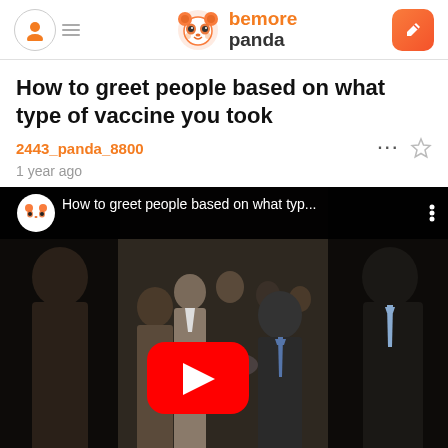bemorepanda
How to greet people based on what type of vaccine you took
2443_panda_8800
1 year ago
[Figure (screenshot): YouTube video thumbnail showing 'How to greet people based on what typ...' with people shaking hands in the background and a red YouTube play button overlay]